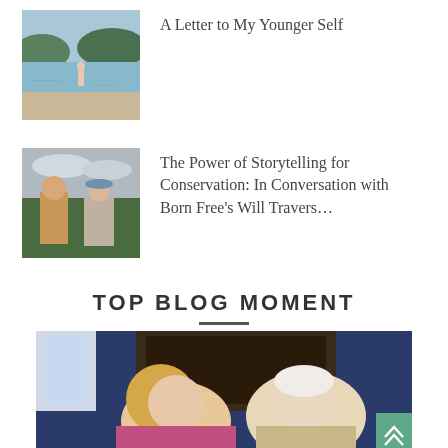[Figure (photo): Thumbnail photo of a person standing on a beach with water and trees in background]
A Letter to My Younger Self
[Figure (photo): Thumbnail photo of two people outdoors, a man and an older woman with a hat]
The Power of Storytelling for Conservation: In Conversation with Born Free’s Will Travers…
TOP BLOG MOMENT
[Figure (photo): Large photo of two people sitting together indoors, a woman with blonde hair and an elderly man with white hair, dark wooden furniture in background]